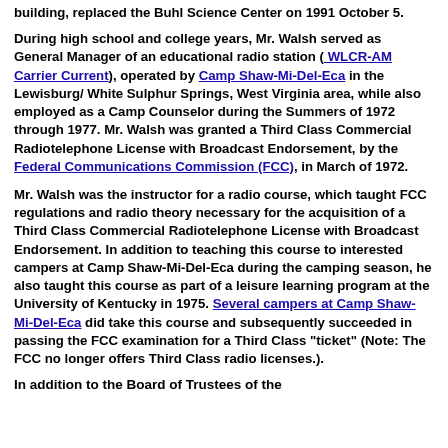building, replaced the Buhl Science Center on 1991 October 5.
During high school and college years, Mr. Walsh served as General Manager of an educational radio station ( WLCR-AM Carrier Current), operated by Camp Shaw-Mi-Del-Eca in the Lewisburg/ White Sulphur Springs, West Virginia area, while also employed as a Camp Counselor during the Summers of 1972 through 1977. Mr. Walsh was granted a Third Class Commercial Radiotelephone License with Broadcast Endorsement, by the Federal Communications Commission (FCC), in March of 1972.
Mr. Walsh was the instructor for a radio course, which taught FCC regulations and radio theory necessary for the acquisition of a Third Class Commercial Radiotelephone License with Broadcast Endorsement. In addition to teaching this course to interested campers at Camp Shaw-Mi-Del-Eca during the camping season, he also taught this course as part of a leisure learning program at the University of Kentucky in 1975. Several campers at Camp Shaw-Mi-Del-Eca did take this course and subsequently succeeded in passing the FCC examination for a Third Class "ticket" (Note: The FCC no longer offers Third Class radio licenses.).
In addition to the Board of Trustees of the